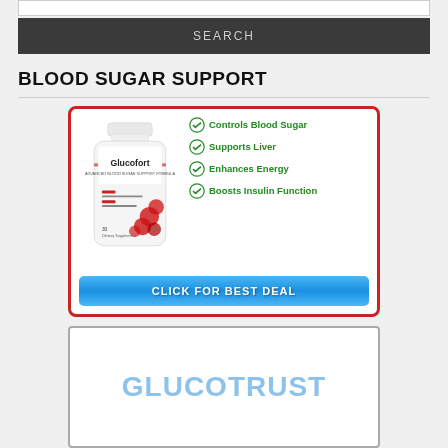[Figure (screenshot): Search input box at top of page]
SEARCH
BLOOD SUGAR SUPPORT
[Figure (infographic): Glucofort supplement bottle advertisement with red border. Lists benefits: Controls Blood Sugar, Supports Liver, Enhances Energy, Boosts Insulin Function. Blue CTA button: CLICK FOR BEST DEAL]
[Figure (infographic): GlucoTrust advertisement partially visible at bottom of page]